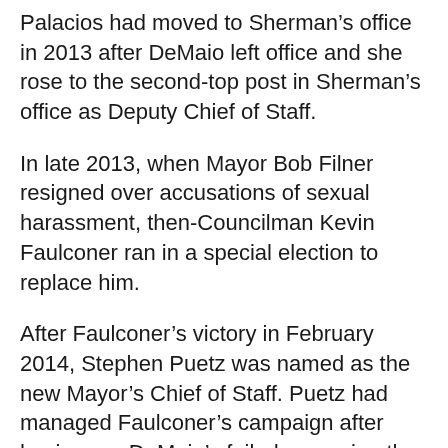Palacios had moved to Sherman’s office in 2013 after DeMaio left office and she rose to the second-top post in Sherman’s office as Deputy Chief of Staff.
In late 2013, when Mayor Bob Filner resigned over accusations of sexual harassment, then-Councilman Kevin Faulconer ran in a special election to replace him.
After Faulconer’s victory in February 2014, Stephen Puetz was named as the new Mayor’s Chief of Staff. Puetz had managed Faulconer’s campaign after having run DeMaio’s failed campaign the previous year when he lost to Filner.
In her financial disclosure report filed as she left the City on April 2, 2015, Palacios reported